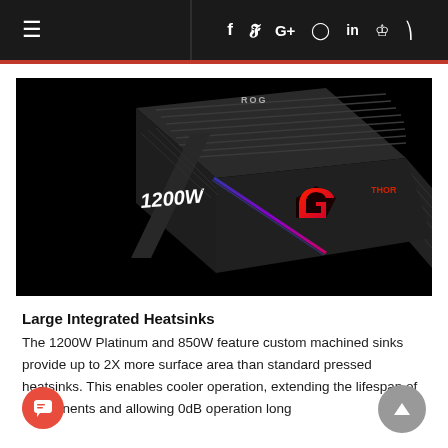≡  f  𝕥  G+  ◯  in  ⚗  ⊃
[Figure (photo): ASUS ROG THOR 1200W Platinum power supply unit, black with RGB lighting showing the ROG logo in red/purple gradient, '1200W' text on side, 'THOR' text on front, on black background]
Large Integrated Heatsinks
The 1200W Platinum and 850W feature custom machined sinks provide up to 2X more surface area than standard pressed heatsinks. This enables cooler operation, extending the lifespan of components and allowing 0dB operation long